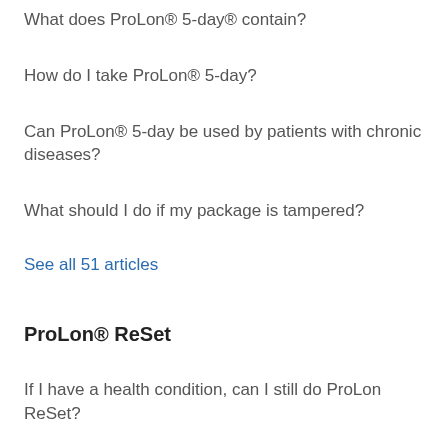What does ProLon® 5-day® contain?
How do I take ProLon® 5-day?
Can ProLon® 5-day be used by patients with chronic diseases?
What should I do if my package is tampered?
See all 51 articles
ProLon® ReSet
If I have a health condition, can I still do ProLon ReSet?
I am experiencing adverse effects (headache, fatigue etc.) what should I do?